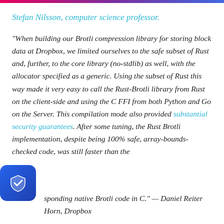Stefan Nilsson, computer science professor.
“When building our Brotli compression library for storing block data at Dropbox, we limited ourselves to the safe subset of Rust and, further, to the core library (no‑stdlib) as well, with the allocator specified as a generic. Using the subset of Rust this way made it very easy to call the Rust‑Brotli library from Rust on the client‑side and using the C FFI from both Python and Go on the Server. This compilation mode also provided substantial security guarantees. After some tuning, the Rust Brotli implementation, despite being 100% safe, array‑bounds‑checked code, was still faster than the corresponding native Brotli code in C.” — Daniel Reiter Horn, Dropbox